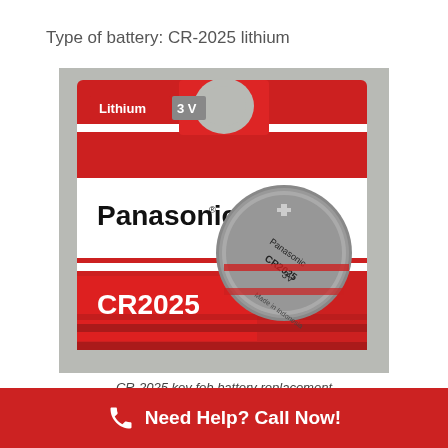Type of battery: CR-2025 lithium
[Figure (photo): Panasonic CR2025 3V lithium coin battery in red blister packaging showing the battery face with Panasonic CR2025 3V Made in Indonesia text]
CR-2025 key fob battery replacement
Need Help? Call Now!